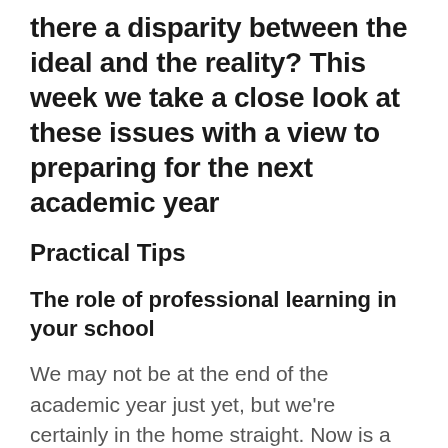there a disparity between the ideal and the reality? This week we take a close look at these issues with a view to preparing for the next academic year
Practical Tips
The role of professional learning in your school
We may not be at the end of the academic year just yet, but we're certainly in the home straight. Now is a great time to consider meaning and purpose in your role as professional